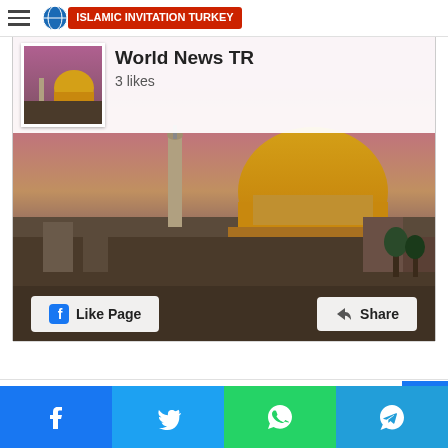Islamic Invitation Turkey
[Figure (screenshot): Facebook page widget showing 'World News TR' page with 3 likes, background image of the Dome of the Rock in Jerusalem at dusk, with 'Like Page' and 'Share' buttons at the bottom.]
Bediüzzaman Said Nursi
[Figure (infographic): Social media share bar at the bottom with Facebook (blue), Twitter (light blue), WhatsApp (green), and Telegram (teal) buttons.]